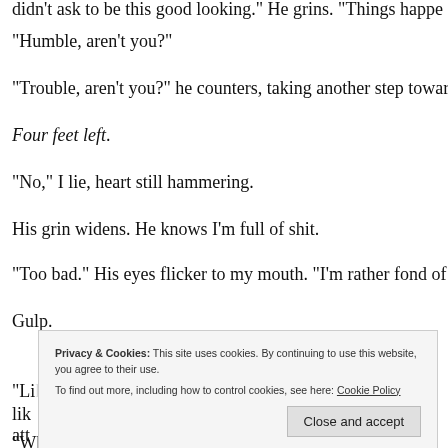“Humble, aren’t you?”
“Trouble, aren’t you?” he counters, taking another step toward m
Four feet left.
“No,” I lie, heart still hammering.
His grin widens. He knows I’m full of shit.
“Too bad.” His eyes flicker to my mouth. “I’m rather fond of tro
Gulp.
Privacy & Cookies: This site uses cookies. By continuing to use this website, you agree to their use. To find out more, including how to control cookies, see here: Cookie Policy
“Li... h,” lik... sti att...
“What I want?” he asks in a dangerously soft tone.